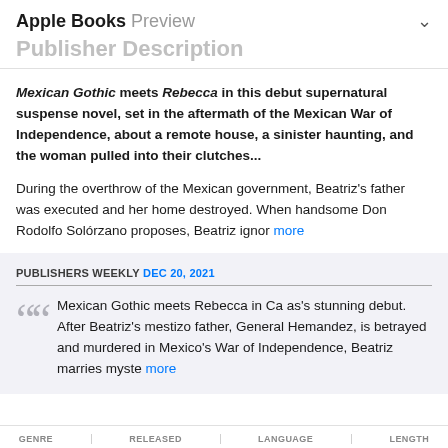Apple Books Preview
Publisher Description
Mexican Gothic meets Rebecca in this debut supernatural suspense novel, set in the aftermath of the Mexican War of Independence, about a remote house, a sinister haunting, and the woman pulled into their clutches...
During the overthrow of the Mexican government, Beatriz's father was executed and her home destroyed. When handsome Don Rodolfo Solórzano proposes, Beatriz ignor more
PUBLISHERS WEEKLY DEC 20, 2021
Mexican Gothic meets Rebecca in Ca as's stunning debut. After Beatriz's mestizo father, General Hemandez, is betrayed and murdered in Mexico's War of Independence, Beatriz marries myste more